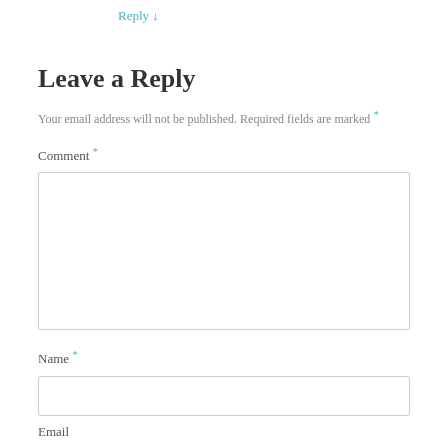Reply ↓
Leave a Reply
Your email address will not be published. Required fields are marked *
Comment *
Name *
Email